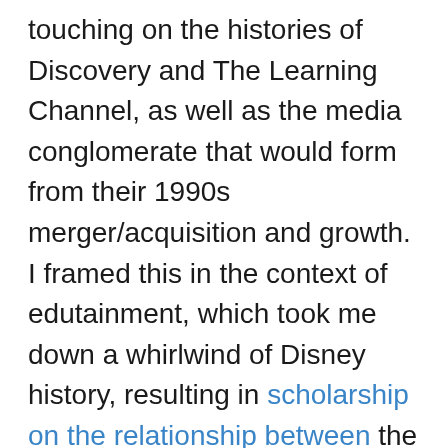touching on the histories of Discovery and The Learning Channel, as well as the media conglomerate that would form from their 1990s merger/acquisition and growth. I framed this in the context of edutainment, which took me down a whirlwind of Disney history, resulting in scholarship on the relationship between the learning objects/resources of the OER movement, edutainment, and the 'free-as-in-beer' resources one finds in Coursera/edX/curiosity.com.  The expansion of this research continues; at the present I am adopting a postmodern lens to look at the history of broadcast contents within education, in their utilitarian existence as well as their social/political/cultural/philosophical/power